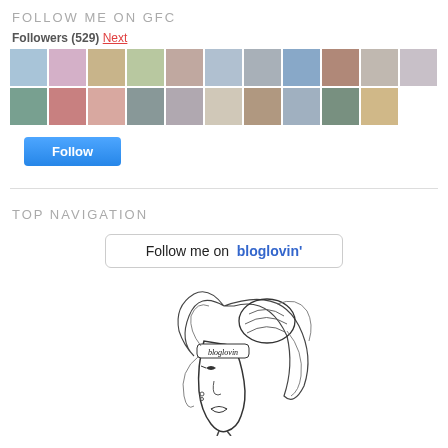FOLLOW ME ON GFC
Followers (529) Next
[Figure (photo): Grid of 21 follower avatar photos in two rows]
Follow (button)
TOP NAVIGATION
[Figure (illustration): Follow me on bloglovin' button widget]
[Figure (illustration): Bloglovin' logo illustration: stylized line drawing of a woman's face with 'bloglovin' written on a headband]